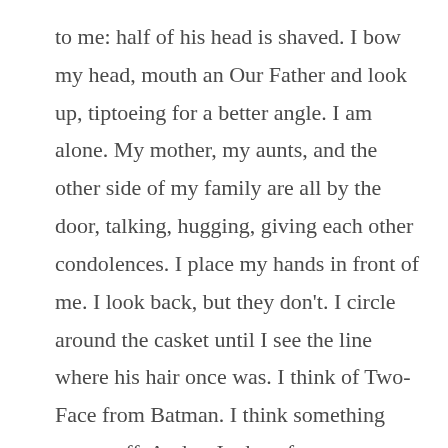to me: half of his head is shaved. I bow my head, mouth an Our Father and look up, tiptoeing for a better angle. I am alone. My mother, my aunts, and the other side of my family are all by the door, talking, hugging, giving each other condolences. I place my hands in front of me. I look back, but they don't. I circle around the casket until I see the line where his hair once was. I think of Two-Face from Batman. I think something seems off. And as I take a few more steps, bite the inside of my lower lip, I see the gash, the scar, the